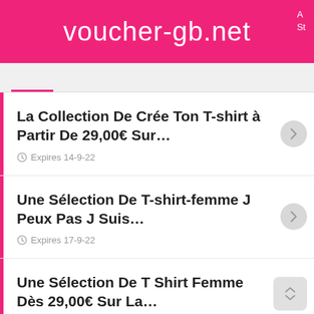voucher-gb.net
La Collection De Crée Ton T-shirt à Partir De 29,00€ Sur… Expires 14-9-22
Une Sélection De T-shirt-femme J Peux Pas J Suis… Expires 17-9-22
Une Sélection De T Shirt Femme Dès 29,00€ Sur La…